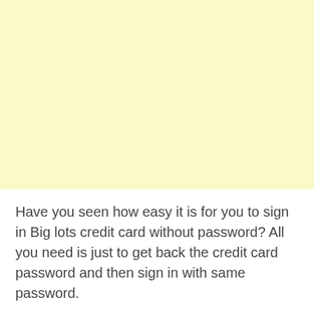[Figure (other): Large yellow/cream colored blank rectangular area filling the top portion of the page]
Have you seen how easy it is for you to sign in Big lots credit card without password? All you need is just to get back the credit card password and then sign in with same password.